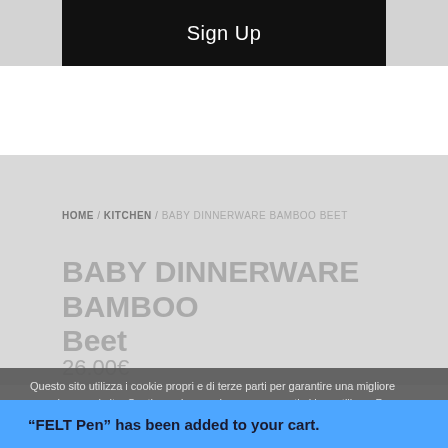[Figure (screenshot): Sign Up button — black background with white text 'Sign Up']
HOME / KITCHEN / BABY DINNERWARE BAMBOO BEET
BABY DINNERWARE BAMBOO Beet
26.00€
Questo sito utilizza i cookie propri e di terze parti per garantire una migliore esperienza sul sito. Continuando a navigare acconsenti al loro utilizzo. Per maggiori dettagli puoi consultare la Cookies Policy e la Privacy Policy
“FELT Pen” has been added to your cart.